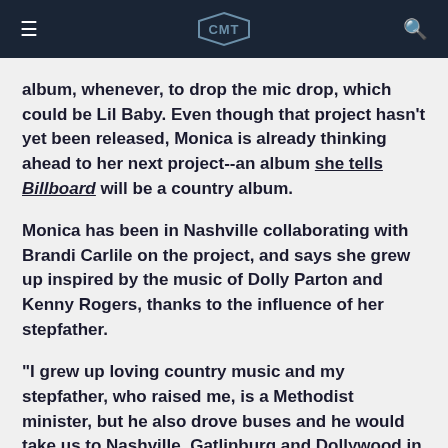CMT
album, whenever, to drop the mic drop, which could be Lil Baby. Even though that project hasn't yet been released, Monica is already thinking ahead to her next project--an album she tells Billboard will be a country album.
Monica has been in Nashville collaborating with Brandi Carlile on the project, and says she grew up inspired by the music of Dolly Parton and Kenny Rogers, thanks to the influence of her stepfather.
"I grew up loving country music and my stepfather, who raised me, is a Methodist minister, but he also drove buses and he would take us to Nashville, Gatlinburg and Dollywood in Tennessee. I became a really big fan of Dolly Parton, at about 8 or 9 years old. That was my real introduction to country music.